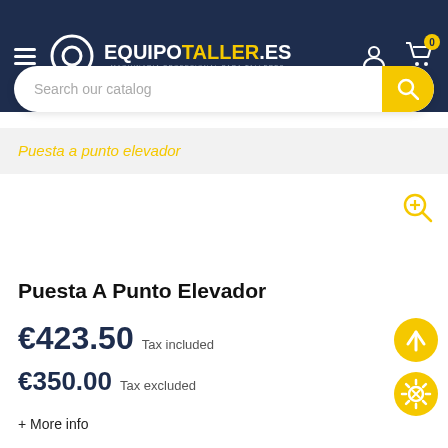[Figure (logo): EquipoTaller.es logo with hamburger menu, user icon, and cart icon on dark navy header background]
Search our catalog
Puesta a punto elevador
Puesta A Punto Elevador
€423.50 Tax included
€350.00 Tax excluded
+ More info